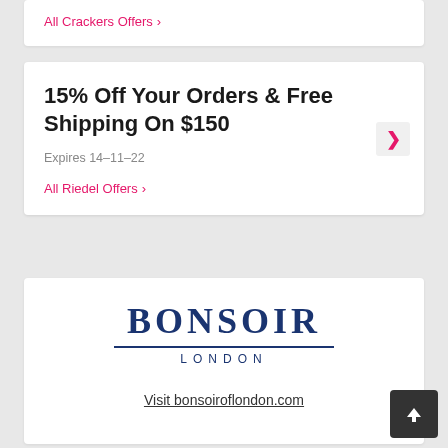All Crackers Offers >
15% Off Your Orders & Free Shipping On $150
Expires 14-11-22
All Riedel Offers >
[Figure (logo): Bonsoir London logo: large serif 'BONSOIR' text in dark navy blue with a horizontal rule beneath, and 'LONDON' in spaced caps below]
Visit bonsoiroflondon.com